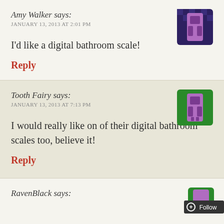Amy Walker says:
JANUARY 13, 2013 AT 2:01 PM
[Figure (illustration): Pixel art avatar icon with purple background, dark blue border, showing a purple figure on dark blue/checkered pattern]
I'd like a digital bathroom scale!
Reply
Tooth Fairy says:
JANUARY 13, 2013 AT 7:13 PM
[Figure (illustration): Pixel art avatar icon with green background showing purple figure]
I would really like on of their digital bathroom scales too, believe it!
Reply
RavenBlack says:
[Figure (illustration): Pixel art avatar icon partially visible with green background, overlaid by Follow button bar]